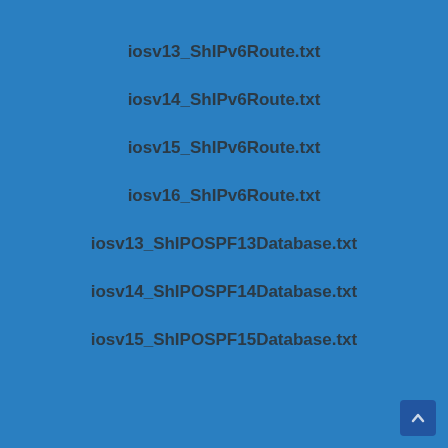iosv13_ShIPv6Route.txt
iosv14_ShIPv6Route.txt
iosv15_ShIPv6Route.txt
iosv16_ShIPv6Route.txt
iosv13_ShIPOSPF13Database.txt
iosv14_ShIPOSPF14Database.txt
iosv15_ShIPOSPF15Database.txt